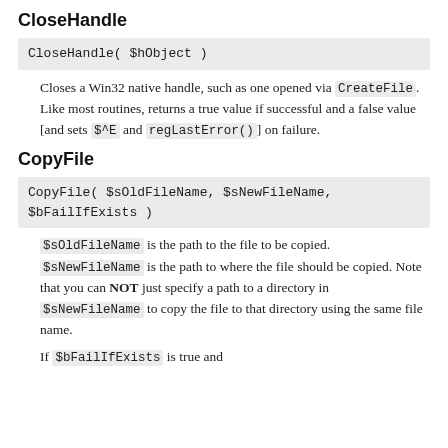CloseHandle
CloseHandle( $hObject )
Closes a Win32 native handle, such as one opened via CreateFile. Like most routines, returns a true value if successful and a false value [and sets $^E and regLastError()] on failure.
CopyFile
CopyFile( $sOldFileName, $sNewFileName, $bFailIfExists )
$sOldFileName is the path to the file to be copied. $sNewFileName is the path to where the file should be copied. Note that you can NOT just specify a path to a directory in $sNewFileName to copy the file to that directory using the same file name.
If $bFailIfExists is true and